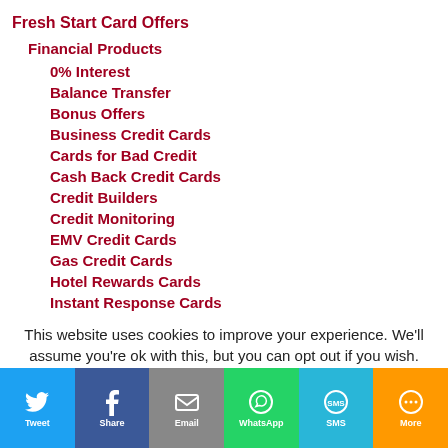Fresh Start Card Offers
Financial Products
0% Interest
Balance Transfer
Bonus Offers
Business Credit Cards
Cards for Bad Credit
Cash Back Credit Cards
Credit Builders
Credit Monitoring
EMV Credit Cards
Gas Credit Cards
Hotel Rewards Cards
Instant Response Cards
Low Interest Credit Cards
No Annual Fee Credit Cards
No Foreign Transaction Fees
Rewards Program Credit Cards
Secured Credit Cards
This website uses cookies to improve your experience. We'll assume you're ok with this, but you can opt out if you wish.